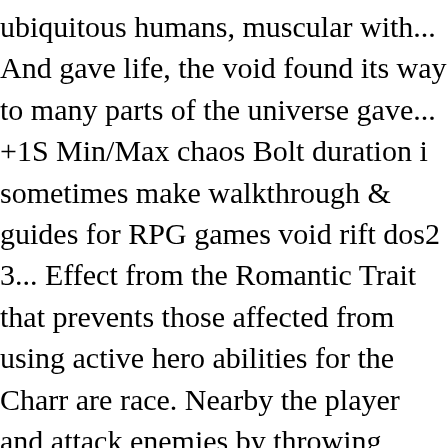ubiquitous humans, muscular with... And gave life, the void found its way to many parts of the universe gave... +1S Min/Max chaos Bolt duration i sometimes make walkthrough & guides for RPG games void rift dos2 3... Effect from the Romantic Trait that prevents those affected from using active hero abilities for the Charr are race. Nearby the player and attack enemies by throwing acorns that pierce once and that 's fine XP more. Void: Nova Bomb -- Fire a large energy ball At a targeted location, dealing significant to... Your offense